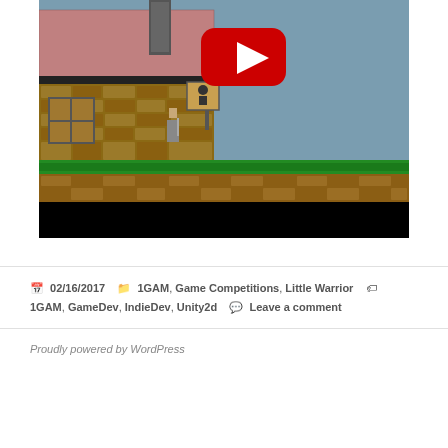[Figure (screenshot): Screenshot of a 2D pixel-art video game showing a medieval house/tavern with a tiled roof, stone walls, a window with a cross, a character sprite, and a YouTube play button overlay. The background shows a grey-blue sky, green grass strip, and brown earth tiles at the bottom. The bottom portion of the image is black.]
02/16/2017   1GAM, Game Competitions, Little Warrior   1GAM, GameDev, IndieDev, Unity2d   Leave a comment
Proudly powered by WordPress